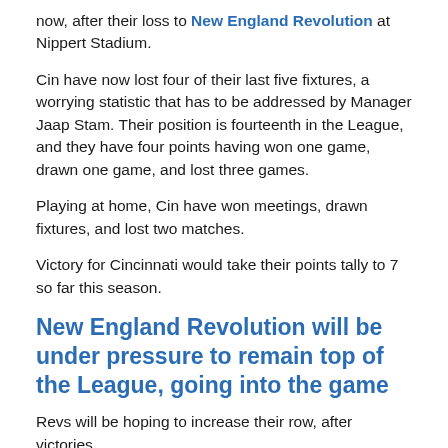now, after their loss to New England Revolution at Nippert Stadium.
Cin have now lost four of their last five fixtures, a worrying statistic that has to be addressed by Manager Jaap Stam. Their position is fourteenth in the League, and they have four points having won one game, drawn one game, and lost three games.
Playing at home, Cin have won meetings, drawn fixtures, and lost two matches.
Victory for Cincinnati would take their points tally to 7 so far this season.
New England Revolution will be under pressure to remain top of the League, going into the game
Revs will be hoping to increase their row, after victories